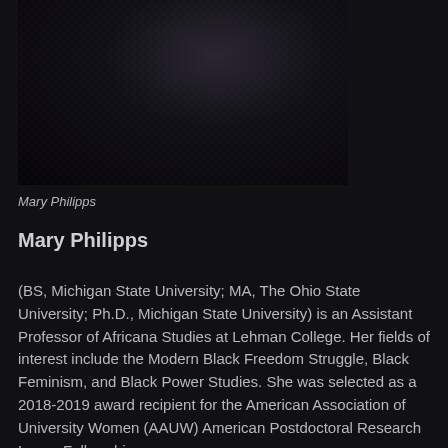[Figure (photo): Dark profile photo of Mary Philipps against a very dark background with subtle texture]
Mary Philipps
Mary Philipps
(BS, Michigan State University; MA, The Ohio State University; Ph.D., Michigan State University) is an Assistant Professor of Africana Studies at Lehman College. Her fields of interest include the Modern Black Freedom Struggle, Black Feminism, and Black Power Studies. She was selected as a 2018-2019 award recipient for the American Association of University Women (AAUW) American Postdoctoral Research Leave Fellowship.